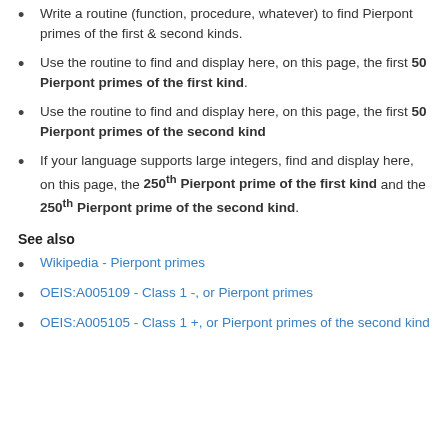Write a routine (function, procedure, whatever) to find Pierpont primes of the first & second kinds.
Use the routine to find and display here, on this page, the first 50 Pierpont primes of the first kind.
Use the routine to find and display here, on this page, the first 50 Pierpont primes of the second kind
If your language supports large integers, find and display here, on this page, the 250th Pierpont prime of the first kind and the 250th Pierpont prime of the second kind.
See also
Wikipedia - Pierpont primes
OEIS:A005109 - Class 1 -, or Pierpont primes
OEIS:A005105 - Class 1 +, or Pierpont primes of the second kind